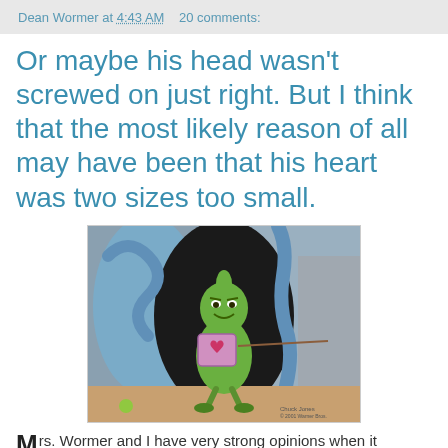Dean Wormer at 4:43 AM   20 comments:
Or maybe his head wasn't screwed on just right. But I think that the most likely reason of all may have been that his heart was two sizes too small.
[Figure (illustration): Cartoon illustration of the Grinch character (green furry creature) holding up a small pink/purple heart in a frame on a stick, standing in front of a dark cave background with blue swirling shapes. A small green ball is visible in the lower left corner.]
Mrs. Wormer and I have very strong opinions when it